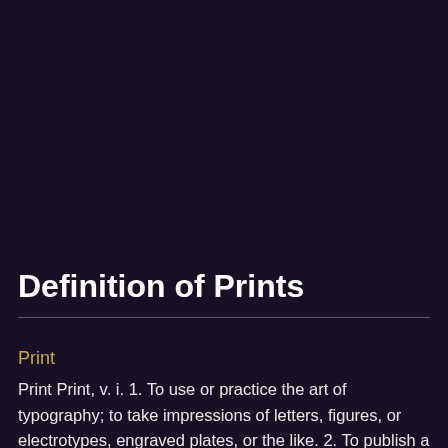Definition of Prints
Print
Print Print, v. i. 1. To use or practice the art of typography; to take impressions of letters, figures, or electrotype, engraved plates, or the like. 2. To publish a book or an article. From the moment he prints, he must except to hear no more truth. -- Pope.